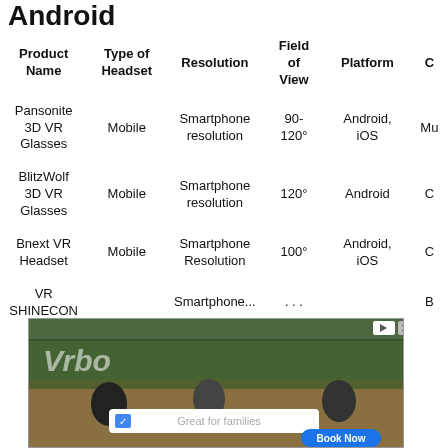Android
| Product Name | Type of Headset | Resolution | Field of View | Platform | C |
| --- | --- | --- | --- | --- | --- |
| Pansonite 3D VR Glasses | Mobile | Smartphone resolution | 90-120° | Android, iOS | Mu |
| BlitzWolf 3D VR Glasses | Mobile | Smartphone resolution | 120° | Android | C |
| Bnext VR Headset | Mobile | Smartphone Resolution | 100° | Android, iOS | C |
| VR SHINECON |  | Smartphone... | ... | ... | B |
[Figure (photo): Advertisement overlay showing cyclists with Vrbo logo and 'Great for families' search bar with Book Now button]